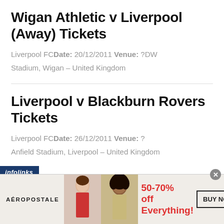Wigan Athletic v Liverpool (Away) Tickets
Liverpool FC Date: 20/12/2011 Venue: ?DW Stadium, Wigan – United Kingdom
Liverpool v Blackburn Rovers Tickets
Liverpool FC Date: 26/12/2011 Venue: ? Anfield Stadium, Liverpool – United Kingdom
[Figure (screenshot): Infolinks ad label bar and Aeropostale advertisement banner with two female models, 50-70% off Everything! sale text in red, and BUY NOW button]